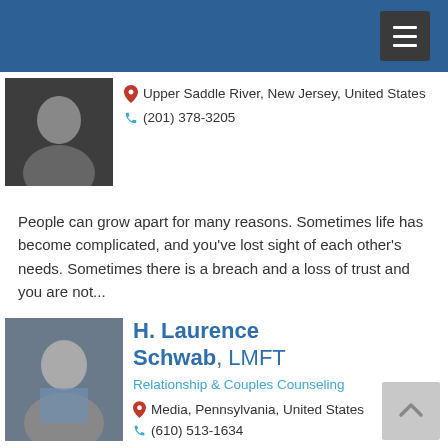Navigation header bar with menu button
Upper Saddle River, New Jersey, United States
(201) 378-3205
People can grow apart for many reasons. Sometimes life has become complicated, and you've lost sight of each other's needs. Sometimes there is a breach and a loss of trust and you are not...
H. Laurence Schwab, LMFT
Relationship & Couples Counseling
Media, Pennsylvania, United States
(610) 513-1634